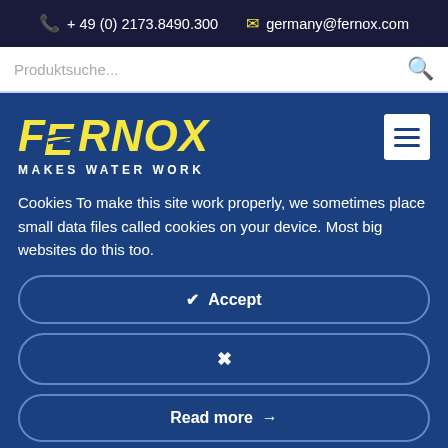📞 + 49 (0) 2173.8490.300   ✉ germany@fernox.com
Produktsuche...
[Figure (logo): Fernox Makes Water Work logo — yellow italic bold text on blue background with wavy lines in letters, tagline MAKES WATER WORK in white]
Cookies To make this site work properly, we sometimes place small data files called cookies on your device. Most big websites do this too.
✔ Accept
✖
Read more →
4. business telephone number;